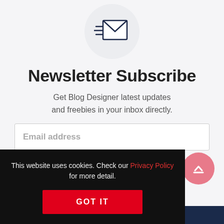[Figure (illustration): Envelope icon with speed lines on a light gray circle background]
Newsletter Subscribe
Get Blog Designer latest updates and freebies in your inbox directly.
Email address (input field placeholder)
By clicking this button, you agree with the storage and handling of your data(Email address, Name) by this website. (GDPR Compliance).
This website uses cookies. Check our Privacy Policy for more detail.
GOT IT